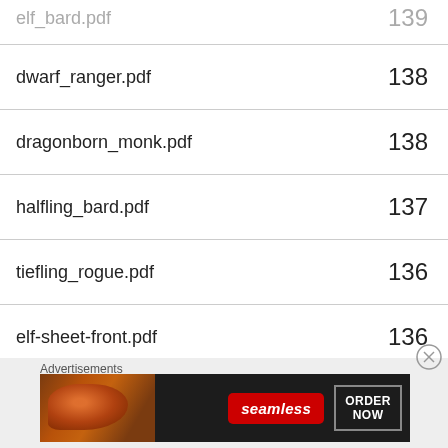| Filename | Value |
| --- | --- |
| elf_bard.pdf | 139 |
| dwarf_ranger.pdf | 138 |
| dragonborn_monk.pdf | 138 |
| halfling_bard.pdf | 137 |
| tiefling_rogue.pdf | 136 |
| elf-sheet-front.pdf | 136 |
| human-sheet-front.pdf | 135 |
| dragonborn_cleric.pdf | 135 |
[Figure (infographic): Seamless food delivery advertisement banner with pizza image, Seamless logo in red, and ORDER NOW button]